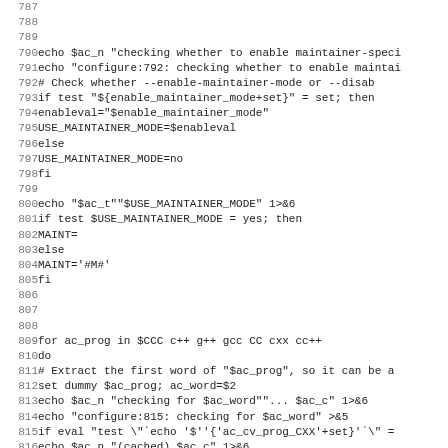Code listing lines 787-819, shell/configure script
788
789
790 echo $ac_n "checking whether to enable maintainer-speci
791 echo "configure:792: checking whether to enable maintai
792      # Check whether --enable-maintainer-mode or --disab
793 if test "${enable_maintainer_mode+set}" = set; then
794   enableval="$enable_maintainer_mode"
795   USE_MAINTAINER_MODE=$enableval
796 else
797   USE_MAINTAINER_MODE=no
798 fi
799
800   echo "$ac_t""$USE_MAINTAINER_MODE" 1>&6
801   if test $USE_MAINTAINER_MODE = yes; then
802     MAINT=
803   else
804     MAINT='#M#'
805   fi
806
807
808
809 for ac_prog in $CCC c++ g++ gcc CC cxx cc++
810 do
811 # Extract the first word of "$ac_prog", so it can be a
812 set dummy $ac_prog; ac_word=$2
813 echo $ac_n "checking for $ac_word""... $ac_c" 1>&6
814 echo "configure:815: checking for $ac_word" >&5
815 if eval "test \"\`echo '$''{'ac_cv_prog_CXX'+set}'\`\" =
816   echo $ac_n "(cached) $ac_c" 1>&6
817 else
818   if test -n "$CXX"; then
819   ac_cv_prog_CXX="$CXX" # let the user override the te